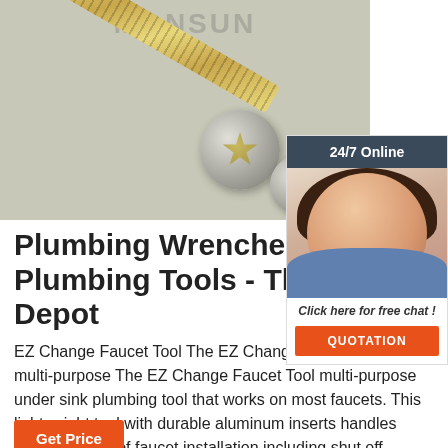[Figure (photo): Photo of metal screws and fasteners on a gray background, with a long threaded screw diagonally placed and two circular screw heads nearby. Watermark text 'MONSUN' visible at top.]
[Figure (photo): Sidebar widget showing a woman wearing a headset (customer service representative) with '24/7 Online' header, 'Click here for free chat!' text, and an orange 'QUOTATION' button.]
Plumbing Wrenches - Plumbing Tools - The Home Depot
EZ Change Faucet Tool The EZ Change Faucet Tool is a multi-purpose The EZ Change Faucet Tool multi-purpose under sink plumbing tool that works on most faucets. This lightweight tool with durable aluminum inserts handles many aspects of faucet installation including shut off valves, supply lines and basket strainers.
[Figure (other): Partially visible orange button at bottom left, likely a 'Get Price' or similar call-to-action button.]